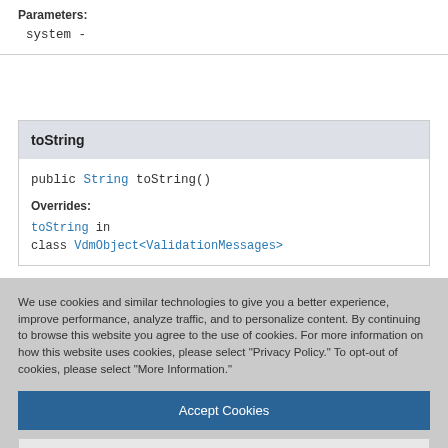Parameters:
system -
toString
public String toString()
Overrides:
toString in class VdmObject<ValidationMessages>
We use cookies and similar technologies to give you a better experience, improve performance, analyze traffic, and to personalize content. By continuing to browse this website you agree to the use of cookies. For more information on how this website uses cookies, please select "Privacy Policy." To opt-out of cookies, please select "More Information."
Accept Cookies
More Information
Privacy Policy | Powered by: TrustArc